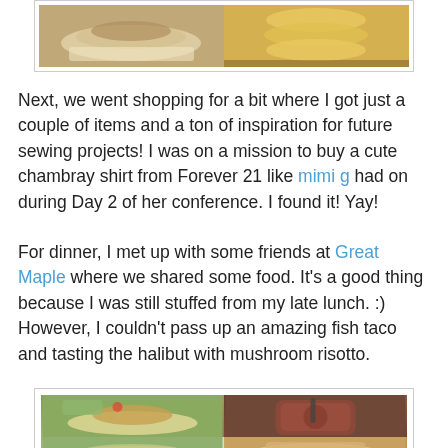[Figure (photo): Two food photos side by side: left shows a sandwich or open-faced dish, right shows potato chips or crisps]
Next, we went shopping for a bit where I got just a couple of items and a ton of inspiration for future sewing projects!  I was on a mission to buy a cute chambray shirt from Forever 21 like mimi g had on during Day 2 of her conference.  I found it!  Yay!
For dinner, I met up with some friends at Great Maple where we shared some food.  It's a good thing because I was still stuffed from my late lunch.  :)  However, I couldn't pass up an amazing fish taco and tasting the halibut with mushroom risotto.
[Figure (photo): Three food photos from Great Maple restaurant: top-left shows a fish taco with shredded cabbage and toppings, top-right shows an iced drink, bottom shows halibut with mushroom risotto]